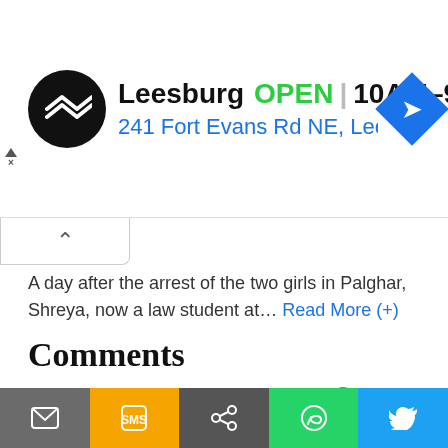[Figure (screenshot): Advertisement banner for a store in Leesburg, showing logo, OPEN status, hours 10AM-9PM, address 241 Fort Evans Rd NE, Leesb, and a navigation arrow icon]
A day after the arrest of the two girls in Palghar, Shreya, now a law student at… Read More (+)
Comments
[Figure (screenshot): Disqus comments widget with Comments tab, Community tab, lock icon, notification badge (1), Login button, Favorite button, Sort by Newest, and Start the discussion text input]
LOG IN WITH
[Figure (screenshot): Share bar at the bottom with email (grey), SMS (orange/yellow), share (dark grey), WhatsApp (green), and Twitter (blue) buttons]